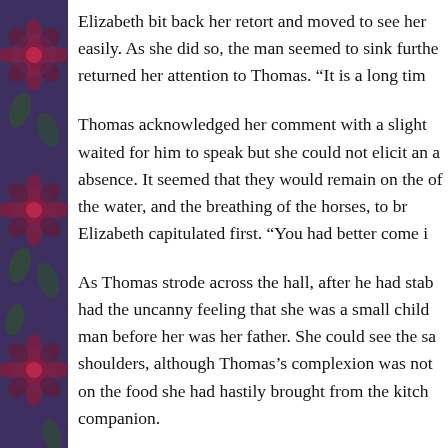Elizabeth bit back her retort and moved to see her easily. As she did so, the man seemed to sink furthe returned her attention to Thomas. “It is a long tim
Thomas acknowledged her comment with a slight waited for him to speak but she could not elicit an a absence. It seemed that they would remain on the of the water, and the breathing of the horses, to br Elizabeth capitulated first. “You had better come i
As Thomas strode across the hall, after he had stab had the uncanny feeling that she was a small child man before her was her father. She could see the sa shoulders, although Thomas’s complexion was not on the food she had hastily brought from the kitch companion.
“Are all the shutters closed?”